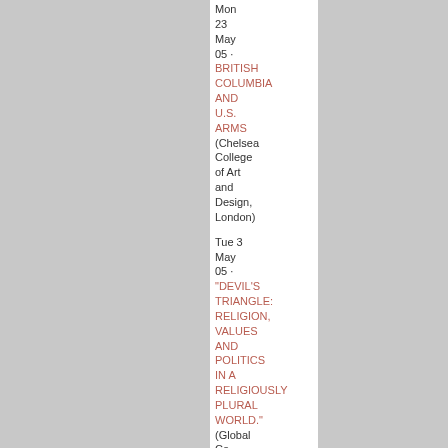Mon 23 May 05 · BRITISH COLUMBIA AND U.S. ARMS (Chelsea College of Art and Design, London)
Tue 3 May 05 · "DEVIL'S TRIANGLE: RELIGION, VALUES AND POLITICS IN A RELIGIOUSLY PLURAL WORLD." (Global Co-operation House, London)
Sat 30 Apr 05 · China in the 21st Century (Institut Francais, London)